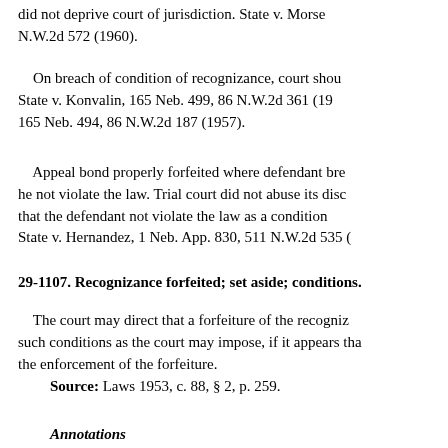did not deprive court of jurisdiction. State v. Morse, N.W.2d 572 (1960).
On breach of condition of recognizance, court should... State v. Konvalin, 165 Neb. 499, 86 N.W.2d 361 (19...) 165 Neb. 494, 86 N.W.2d 187 (1957).
Appeal bond properly forfeited where defendant bre... he not violate the law. Trial court did not abuse its disc... that the defendant not violate the law as a condition... State v. Hernandez, 1 Neb. App. 830, 511 N.W.2d 535 (...)
29-1107. Recognizance forfeited; set aside; conditions.
The court may direct that a forfeiture of the recogniz... such conditions as the court may impose, if it appears tha... the enforcement of the forfeiture.
Source: Laws 1953, c. 88, § 2, p. 259.
Annotations